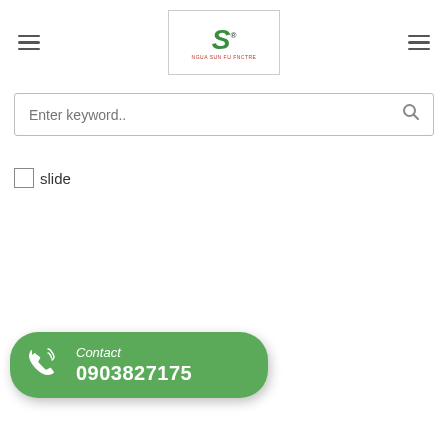[Figure (logo): Green stylized S letter logo with red figure underneath and text reading NGUA SUN FU FNCTRE]
[Figure (screenshot): Search bar with placeholder text 'Enter keyword..' and a search icon on the right]
slide
[Figure (infographic): Green rounded contact button with phone icon, italic text 'Contact' and phone number 0903827175 in white bold text]